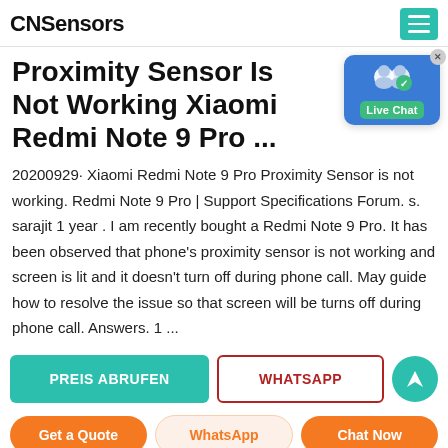CNSensors
Proximity Sensor Is Not Working Xiaomi Redmi Note 9 Pro ...
[Figure (other): Live Chat bubble icon with two person silhouettes and a green checkmark badge, labeled 'Live Chat']
20200929· Xiaomi Redmi Note 9 Pro Proximity Sensor is not working. Redmi Note 9 Pro | Support Specifications Forum. s. sarajit 1 year . I am recently bought a Redmi Note 9 Pro. It has been observed that phone's proximity sensor is not working and screen is lit and it doesn't turn off during phone call. May guide how to resolve the issue so that screen will be turns off during phone call. Answers. 1 ...
PREIS ABRUFEN
WHATSAPP
Get a Quote
WhatsApp
Chat Now